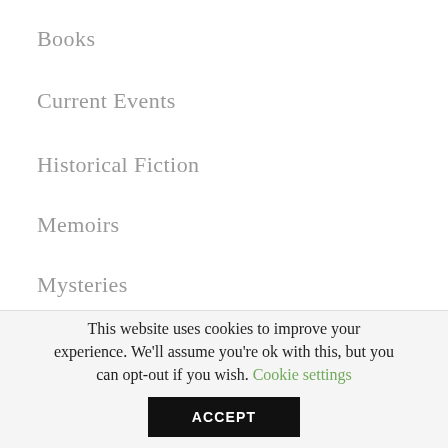Books
Current Events
Historical Fiction
Memoirs
Mysteries
Nonfiction
This website uses cookies to improve your experience. We'll assume you're ok with this, but you can opt-out if you wish. Cookie settings
ACCEPT